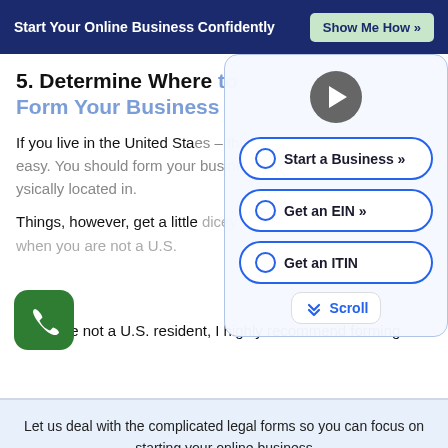Start Your Online Business Confidently   Show Me How »
5. Determine Where to Form Your Business
If you live in the United States – this step is easy. You should form your business where you are physically located in.
[Figure (screenshot): Overlay panel with play button and three CTA radio-style buttons: 'Start a Business »', 'Get an EIN »', 'Get an ITIN', plus a Scroll badge]
Things, however, get a little dicey when you are not a U.S.
If you are not a U.S. resident, I highly recommend forming
Let us deal with the complicated legal forms so you can focus on starting your online business
Start My Business Now